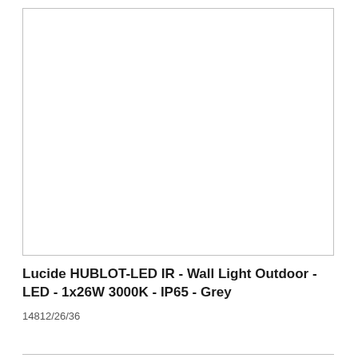[Figure (photo): Product image placeholder — empty white box with grey border representing a wall light product photo for Lucide HUBLOT-LED IR]
Lucide HUBLOT-LED IR - Wall Light Outdoor - LED - 1x26W 3000K - IP65 - Grey
14812/26/36